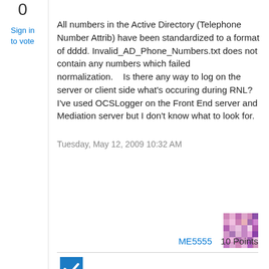0
Sign in
to vote
All numbers in the Active Directory (Telephone Number Attrib) have been standardized to a format of dddd. Invalid_AD_Phone_Numbers.txt does not contain any numbers which failed normalization.    Is there any way to log on the server or client side what's occuring during RNL?  I've used OCSLogger on the Front End server and Mediation server but I don't know what to look for.
Tuesday, May 12, 2009 10:32 AM
ME5555
10 Points